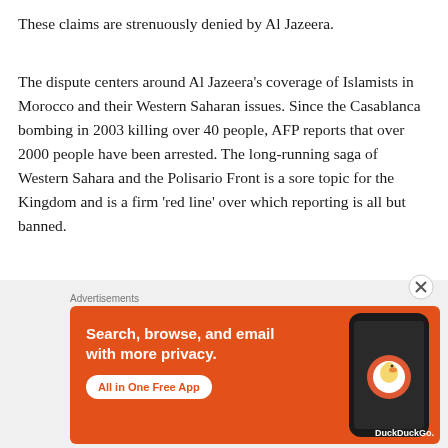These claims are strenuously denied by Al Jazeera.
The dispute centers around Al Jazeera’s coverage of Islamists in Morocco and their Western Saharan issues. Since the Casablanca bombing in 2003 killing over 40 people, AFP reports that over 2000 people have been arrested. The long-running saga of Western Sahara and the Polisario Front is a sore topic for the Kingdom and is a firm ‘red line’ over which reporting is all but banned.
Indeed, Al Jazeera was banned in 2000 and the Moroccan
[Figure (other): Advertisement banner for DuckDuckGo: orange background with white text reading 'Search, browse, and email with more privacy. All in One Free App' and an image of a smartphone showing the DuckDuckGo app. Advertisements label above and a close/X button.]